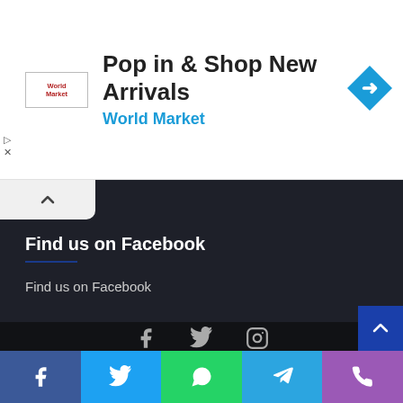[Figure (screenshot): Advertisement banner for World Market: 'Pop in & Shop New Arrivals' with World Market logo and a blue diamond directional sign icon]
Find us on Facebook
Find us on Facebook
Copyright All rights reserved . Youth Village South Africa By Nine80 Digital
Home  About Us  Advertise  Privacy Policy  Contact Us
[Figure (infographic): Social media icons at bottom: Facebook, Twitter, Instagram in dark footer; social share bar at very bottom with Facebook, Twitter, WhatsApp, Telegram, Phone icons]